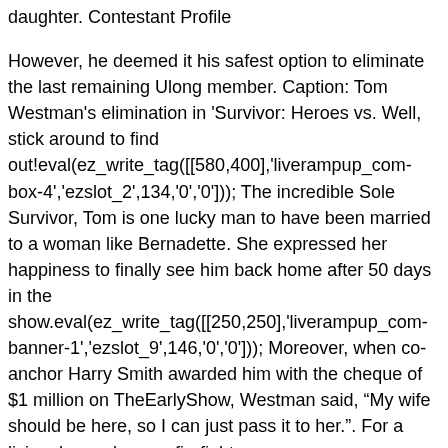daughter. Contestant Profile
However, he deemed it his safest option to eliminate the last remaining Ulong member. Caption: Tom Westman's elimination in 'Survivor: Heroes vs. Well, stick around to find out!eval(ez_write_tag([[580,400],'liverampup_com-box-4','ezslot_2',134,'0','0'])); The incredible Sole Survivor, Tom is one lucky man to have been married to a woman like Bernadette. She expressed her happiness to finally see him back home after 50 days in the show.eval(ez_write_tag([[250,250],'liverampup_com-banner-1','ezslot_9',146,'0','0'])); Moreover, when co-anchor Harry Smith awarded him with the cheque of $1 million on TheEarlyShow, Westman said, “My wife should be here, so I can just pass it to her.". For a living, he works as a firefighter.
Tom remembered his alliance with Stephenie and promised to protect her. Coby wanted the other men to spend the night fishing if